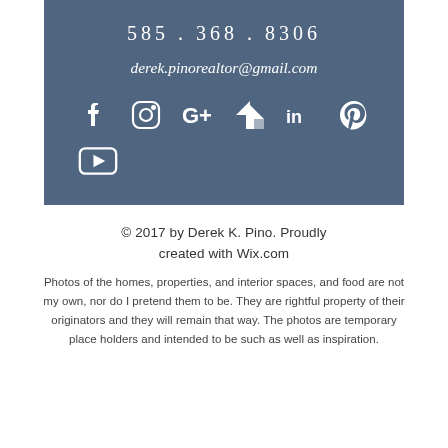585 . 368 . 8306
derek.pinorealtor@gmail.com
[Figure (other): Social media icons: Facebook, Instagram, Google+, Houzz, LinkedIn, Pinterest, YouTube]
© 2017 by Derek K. Pino. Proudly created with Wix.com
Photos of the homes, properties, and interior spaces, and food are not my own, nor do I pretend them to be. They are rightful property of their originators and they will remain that way. The photos are temporary place holders and intended to be such as well as inspiration.